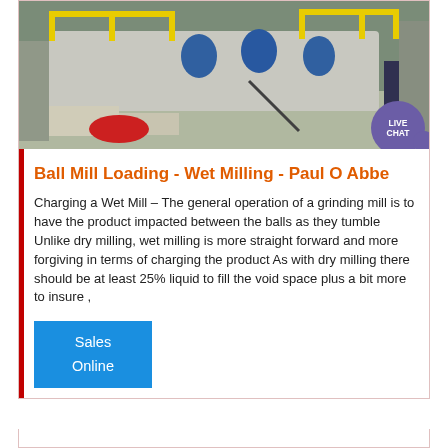[Figure (photo): Industrial ball mill machinery photographed from ground level, showing white/grey mill body with yellow safety railings on top, blue motor components, and industrial equipment in background. A red object visible in lower portion.]
Ball Mill Loading - Wet Milling - Paul O Abbe
Charging a Wet Mill – The general operation of a grinding mill is to have the product impacted between the balls as they tumble Unlike dry milling, wet milling is more straight forward and more forgiving in terms of charging the product As with dry milling there should be at least 25% liquid to fill the void space plus a bit more to insure ,
Sales
Online